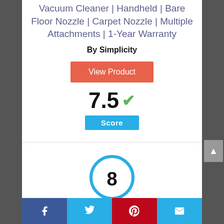Vacuum Cleaner | Handheld | Bare Floor Nozzle | Carpet Nozzle | Multiple Attachments | 1-Year Warranty
By Simplicity
View Product
7.5 ✓
Score
[Figure (infographic): Circle with number 8 inside, outlined in blue]
Facebook | Twitter | Pinterest | Email social share bar